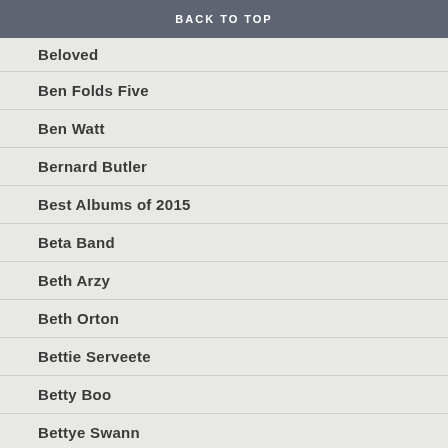BACK TO TOP
Beloved
Ben Folds Five
Ben Watt
Bernard Butler
Best Albums of 2015
Beta Band
Beth Arzy
Beth Orton
Bettie Serveete
Betty Boo
Bettye Swann
Biff Bang Pow!
Biffy Clyro